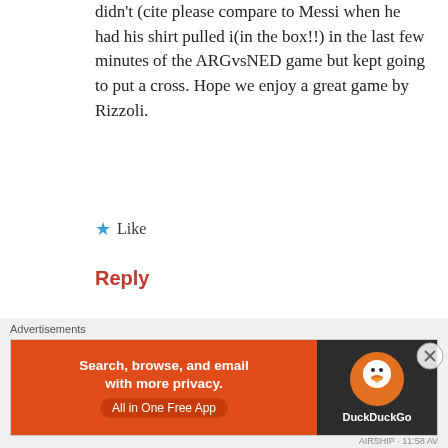didn't (cite please compare to Messi when he had his shirt pulled i(in the box!!) in the last few minutes of the ARGvsNED game but kept going to put a cross. Hope we enjoy a great game by Rizzoli.
★ Like
Reply
Rivaldo   July 13, 2014  9:06 am
[Figure (illustration): Pixel art avatar icon in teal and dark blue on dark navy background]
Hey guys, dont be so harsh towards the referee, despite loving the game and working hard on handling some
Advertisements
[Figure (screenshot): DuckDuckGo advertisement banner: orange left section with text 'Search, browse, and email with more privacy. All in One Free App', dark right section with DuckDuckGo logo]